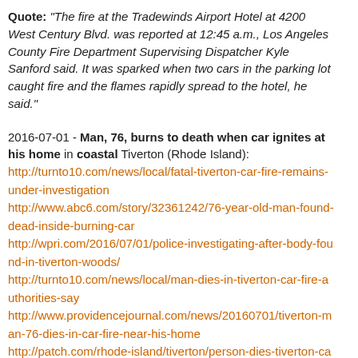Quote: "The fire at the Tradewinds Airport Hotel at 4200 West Century Blvd. was reported at 12:45 a.m., Los Angeles County Fire Department Supervising Dispatcher Kyle Sanford said. It was sparked when two cars in the parking lot caught fire and the flames rapidly spread to the hotel, he said."
2016-07-01 - Man, 76, burns to death when car ignites at his home in coastal Tiverton (Rhode Island): http://turnto10.com/news/local/fatal-tiverton-car-fire-remains-under-investigation http://www.abc6.com/story/32361242/76-year-old-man-found-dead-inside-burning-car http://wpri.com/2016/07/01/police-investigating-after-body-found-in-tiverton-woods/ http://turnto10.com/news/local/man-dies-in-tiverton-car-fire-authorities-say http://www.providencejournal.com/news/20160701/tiverton-man-76-dies-in-car-fire-near-his-home http://patch.com/rhode-island/tiverton/person-dies-tiverton-car-fire http://newsbout.com/id/16335078138